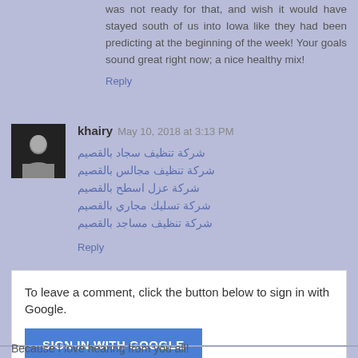was not ready for that, and wish it would have stayed south of us into Iowa like they had been predicting at the beginning of the week! Your goals sound great right now; a nice healthy mix!
Reply
khairy  May 10, 2018 at 3:13 PM
شركة تنظيف سجاد بالقصيم
شركة تنظيف مجالس بالقصيم
شركة عزل اسطح بالقصيم
شركة تسليك مجاري بالقصيم
شركة تنظيف مساجد بالقصيم
Reply
To leave a comment, click the button below to sign in with Google.
SIGN IN WITH GOOGLE
Because I love hearing from you all!